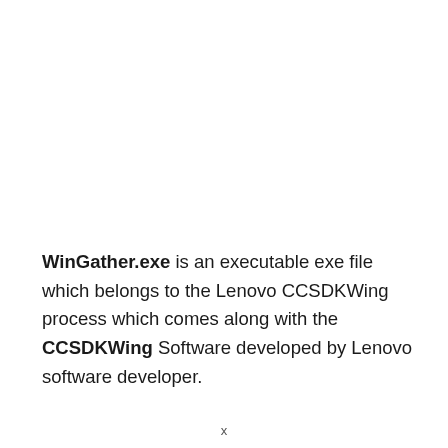WinGather.exe is an executable exe file which belongs to the Lenovo CCSDKWing process which comes along with the CCSDKWing Software developed by Lenovo software developer.
x